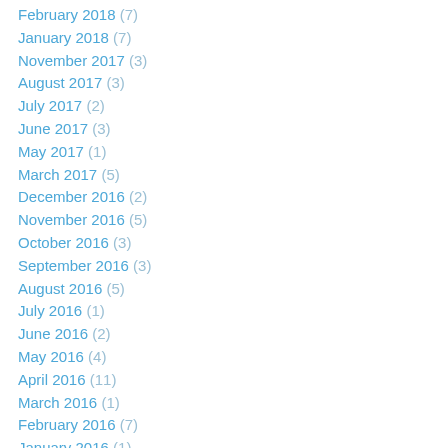February 2018 (7)
January 2018 (7)
November 2017 (3)
August 2017 (3)
July 2017 (2)
June 2017 (3)
May 2017 (1)
March 2017 (5)
December 2016 (2)
November 2016 (5)
October 2016 (3)
September 2016 (3)
August 2016 (5)
July 2016 (1)
June 2016 (2)
May 2016 (4)
April 2016 (11)
March 2016 (1)
February 2016 (7)
January 2016 (1)